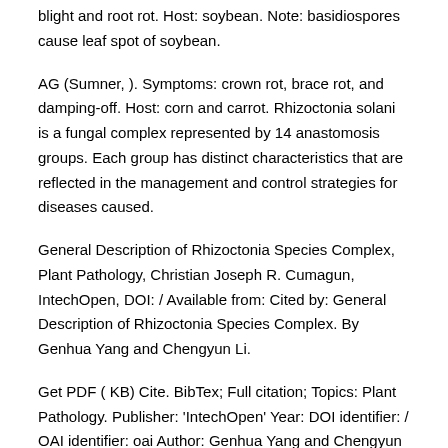blight and root rot. Host: soybean. Note: basidiospores cause leaf spot of soybean.
AG (Sumner, ). Symptoms: crown rot, brace rot, and damping-off. Host: corn and carrot. Rhizoctonia solani is a fungal complex represented by 14 anastomosis groups. Each group has distinct characteristics that are reflected in the management and control strategies for diseases caused.
General Description of Rhizoctonia Species Complex, Plant Pathology, Christian Joseph R. Cumagun, IntechOpen, DOI: / Available from: Cited by: General Description of Rhizoctonia Species Complex. By Genhua Yang and Chengyun Li.
Get PDF ( KB) Cite. BibTex; Full citation; Topics: Plant Pathology. Publisher: 'IntechOpen' Year: DOI identifier: / OAI identifier: oai Author: Genhua Yang and Chengyun Li. Rhizoctonia Species: Taxonomy, Molecular Biology, Ecology, Pathology and Control, written by the world's most reputable experts in their respective fields of Rhizoctonia research, summarizes years of research in the various aspects of the